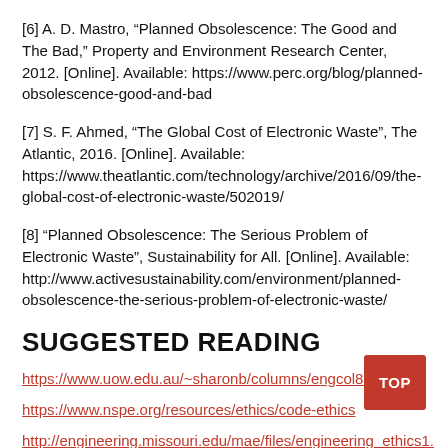[6] A. D. Mastro, “Planned Obsolescence: The Good and The Bad,” Property and Environment Research Center, 2012. [Online]. Available: https://www.perc.org/blog/planned-obsolescence-good-and-bad
[7] S. F. Ahmed, “The Global Cost of Electronic Waste”, The Atlantic, 2016. [Online]. Available: https://www.theatlantic.com/technology/archive/2016/09/the-global-cost-of-electronic-waste/502019/
[8] “Planned Obsolescence: The Serious Problem of Electronic Waste”, Sustainability for All. [Online]. Available: http://www.activesustainability.com/environment/planned-obsolescence-the-serious-problem-of-electronic-waste/
SUGGESTED READING
https://www.uow.edu.au/~sharonb/columns/engcol8.html
https://www.nspe.org/resources/ethics/code-ethics
http://engineering.missouri.edu/mae/files/engineering_ethics1.